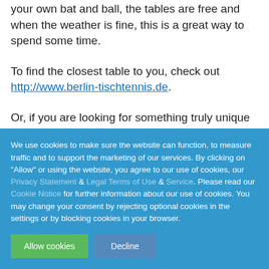your own bat and ball, the tables are free and when the weather is fine, this is a great way to spend some time.
To find the closest table to you, check out http://www.berlin-tischtennis.de.
Or, if you are looking for something truly unique and very Berlin, take your table tennis
We use cookies to make sure the website can function, to measure traffic and to support the marketing of our services. By clicking on "Allow" or using the website, you agree to our use of cookies, our Privacy Statement & Legal Terms of Use & Service. Please read our Cookie Notice for further information about our use of cookies. You may change your consent by rejecting optional cookies in the settings or by blocking cookies in your browser.